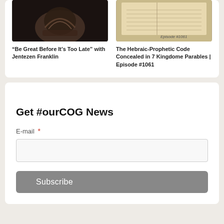[Figure (photo): Thumbnail image of a shoe or leather object on dark background]
“Be Great Before It’s Too Late” with Jentezen Franklin
[Figure (photo): Thumbnail image of an open Bible or ancient book with text reading Episode #1061]
The Hebraic-Prophetic Code Concealed in 7 Kingdome Parables | Episode #1061
Get #ourCOG News
E-mail *
Subscribe